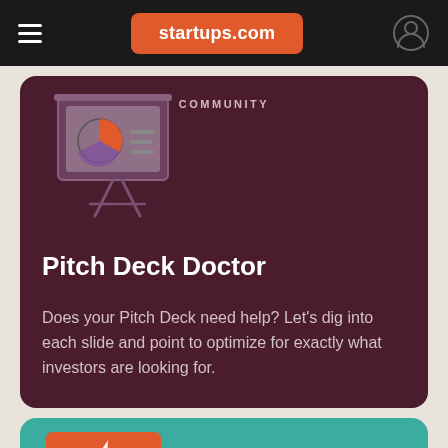startups.com
COMMUNITY
[Figure (illustration): Presentation board icon with pie chart and text lines, on an easel, in purple/gray tones]
Pitch Deck Doctor
Does your Pitch Deck need help? Let's dig into each slide and point to optimize for exactly what investors are looking for.
[Figure (illustration): Teal card with a presentation screen showing lightning bolt icon, with audience silhouettes below]